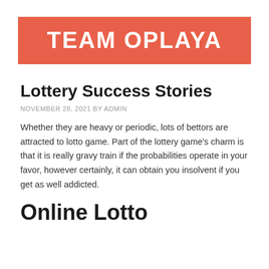[Figure (logo): Team Oplaya logo — white text on coral/salmon red background rectangle]
Lottery Success Stories
NOVEMBER 28, 2021 BY ADMIN
Whether they are heavy or periodic, lots of bettors are attracted to lotto game. Part of the lottery game's charm is that it is really gravy train if the probabilities operate in your favor, however certainly, it can obtain you insolvent if you get as well addicted.
Online Lotto